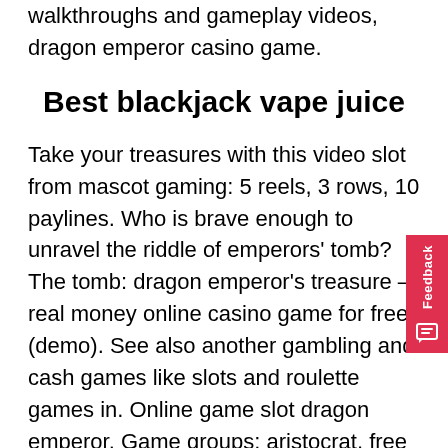walkthroughs and gameplay videos, dragon emperor casino game.
Best blackjack vape juice
Take your treasures with this video slot from mascot gaming: 5 reels, 3 rows, 10 paylines. Who is brave enough to unravel the riddle of emperors' tomb? The tomb: dragon emperor's treasure – real money online casino game for free (demo). See also another gambling and cash games like slots and roulette games in. Online game slot dragon emperor. Game groups: aristocrat, free slot machines, mobile html5, multi-line, nextgen, slot games. Ancient dragons, fair maidens, magical pearls, and a quest for hidden treasure are all within reach with this exciting game of chance. Play free dragon emperor slot machine by